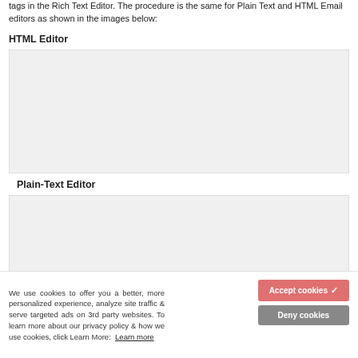tags in the Rich Text Editor. The procedure is the same for Plain Text and HTML Email editors as shown in the images below:
HTML Editor
[Figure (screenshot): Screenshot of the HTML Editor interface showing email editor with merge tags]
Plain-Text Editor
[Figure (screenshot): Screenshot of the Plain-Text Editor interface]
We use cookies to offer you a better, more personalized experience, analyze site traffic & serve targeted ads on 3rd party websites. To learn more about our privacy policy & how we use cookies, click Learn More: Learn more